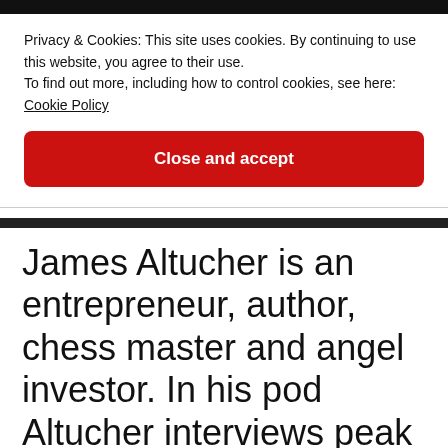[Figure (screenshot): Dark header bar at top of page, partial website navigation bar]
Privacy & Cookies: This site uses cookies. By continuing to use this website, you agree to their use. To find out more, including how to control cookies, see here: Cookie Policy
Close and accept
James Altucher is an entrepreneur, author, chess master and angel investor. In his pod Altucher interviews peak performers, billionaires, rappers, astronauts,